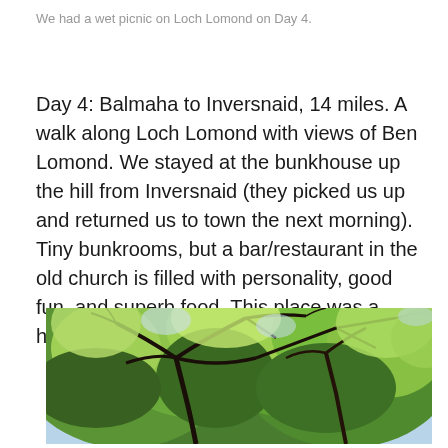We had a wet picnic on Loch Lomond on Day 4.
Day 4: Balmaha to Inversnaid, 14 miles. A walk along Loch Lomond with views of Ben Lomond. We stayed at the bunkhouse up the hill from Inversnaid (they picked us up and returned us to town the next morning). Tiny bunkrooms, but a bar/restaurant in the old church is filled with personality, good fun, and superb food. This place was a highlight of the trip for us!
[Figure (photo): Looking up through leafy green tree canopy with branches spreading across a bright sky, lush summer foliage in vivid greens.]